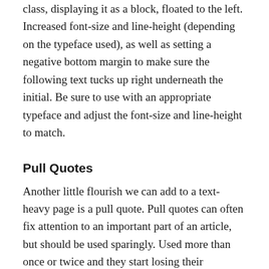Here we target the first letter of the .example class, displaying it as a block, floated to the left. Increased font-size and line-height (depending on the typeface used), as well as setting a negative bottom margin to make sure the following text tucks up right underneath the initial. Be sure to use with an appropriate typeface and adjust the font-size and line-height to match.
Pull Quotes
Another little flourish we can add to a text-heavy page is a pull quote. Pull quotes can often fix attention to an important part of an article, but should be used sparingly. Used more than once or twice and they start losing their importance. There are many ways of using a pull or block quote but I wanted to share a simple method for